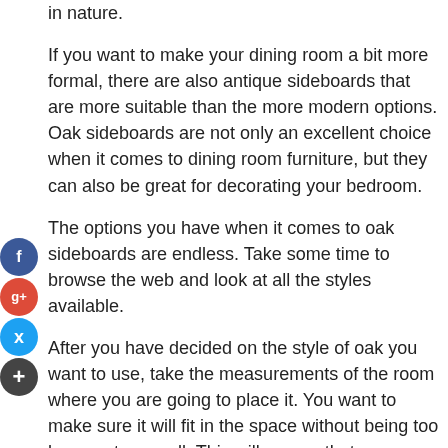in nature.
If you want to make your dining room a bit more formal, there are also antique sideboards that are more suitable than the more modern options. Oak sideboards are not only an excellent choice when it comes to dining room furniture, but they can also be great for decorating your bedroom.
The options you have when it comes to oak sideboards are endless. Take some time to browse the web and look at all the styles available.
After you have decided on the style of oak you want to use, take the measurements of the room where you are going to place it. You want to make sure it will fit in the space without being too large or too small. This will ensure that you are satisfied with your purchase after you have finished shopping.
One of the best things about oak sideboards is that they can be made into any size, shape, including square, rectangular or round. You can find them in a wide array of different wood grains, making it easier for you to match up the style with the rest of the furniture in the room. If you are looking to find one that has a